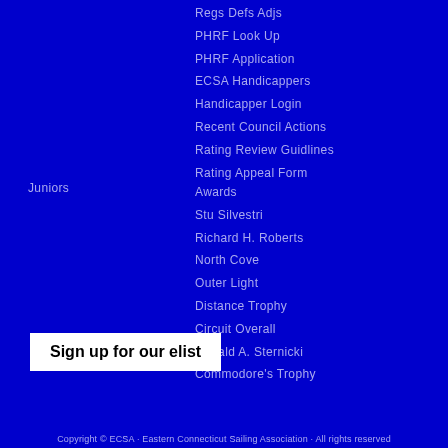Regs Defs Adjs
PHRF Look Up
PHRF Application
ECSA Handicappers
Handicapper Login
Recent Council Actions
Rating Review Guidlines
Rating Appeal Form
Juniors
Awards
Stu Silvestri
Richard H. Roberts
North Cove
Outer Light
Distance Trophy
Circuit Overall
Ronald A. Sternicki
Commodore's Trophy
Sign up for our elist
Copyright © ECSA · Eastern Connecticut Sailing Association · All rights reserved